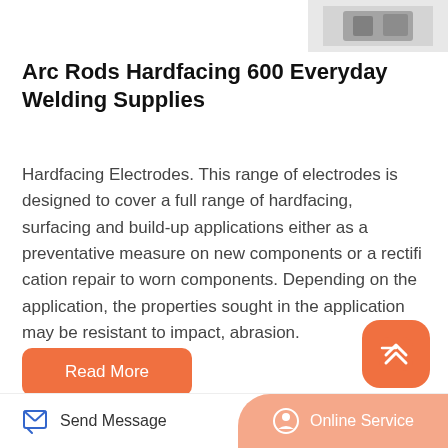[Figure (photo): Partial view of welding equipment/product image at top right corner]
Arc Rods Hardfacing 600 Everyday Welding Supplies
Hardfacing Electrodes. This range of electrodes is designed to cover a full range of hardfacing, surfacing and build-up applications either as a preventative measure on new components or a rectification repair to worn components. Depending on the application, the properties sought in the application may be resistant to impact, abrasion.
Related News
Send Message   Online Service